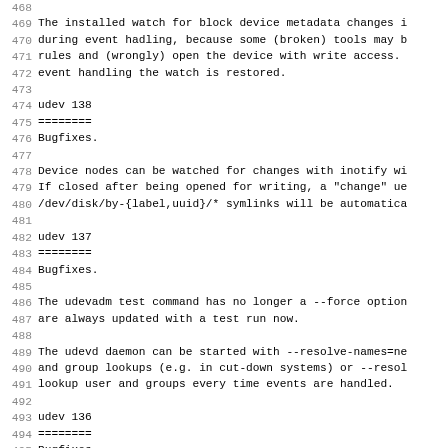468
469 The installed watch for block device metadata changes i
470 during event hadling, because some (broken) tools may b
471 rules and (wrongly) open the device with write access.
472 event handling the watch is restored.
473
474 udev 138
475 ========
476 Bugfixes.
477
478 Device nodes can be watched for changes with inotify wi
479 If closed after being opened for writing, a "change" ue
480 /dev/disk/by-{label,uuid}/* symlinks will be automatica
481
482 udev 137
483 ========
484 Bugfixes.
485
486 The udevadm test command has no longer a --force option
487 are always updated with a test run now.
488
489 The udevd daemon can be started with --resolve-names=ne
490 and group lookups (e.g. in cut-down systems) or --resol
491 lookup user and groups every time events are handled.
492
493 udev 136
494 ========
495 Bugfixes.
496
497 We are currently merging the Ubuntu rules in the udev c
498 and get one step closer to provide a common Linux /dev
499 device names, symlinks, and default device permissions.